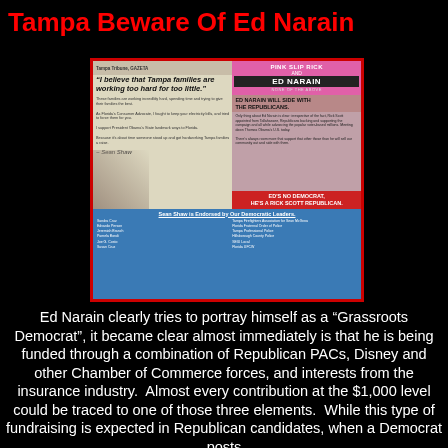Tampa Beware Of Ed Narain
[Figure (photo): A political mailer showing Ed Narain on the left with quote 'I believe that Tampa families are working too hard for too little.' and on the right a 'Pink Slip Rick and Ed Narain' attack ad saying 'ED NARAIN WILL SIDE WITH THE REPUBLICANS.' and 'ED'S NO DEMOCRAT, HE'S A RICK SCOTT REPUBLICAN.' Below is a Sean Shaw endorsed by Our Democratic Leaders bar.]
Ed Narain clearly tries to portray himself as a “Grassroots Democrat”, it became clear almost immediately is that he is being funded through a combination of Republican PACs, Disney and other Chamber of Commerce forces, and interests from the insurance industry.  Almost every contribution at the $1,000 level could be traced to one of those three elements.  While this type of fundraising is expected in Republican candidates, when a Democrat posts